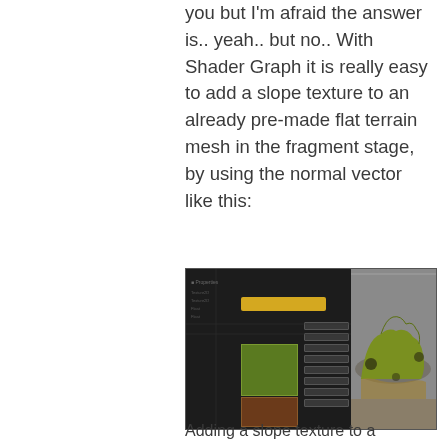you but I'm afraid the answer is.. yeah.. but no.. With Shader Graph it is really easy to add a slope texture to an already pre-made flat terrain mesh in the fragment stage, by using the normal vector like this:
[Figure (screenshot): Screenshot of Unity Shader Graph editor showing a shader node graph on the left with a highlighted yellow node and green/brown texture previews, and a 3D terrain mesh preview on the right showing yellow-green terrain with slope texturing applied.]
Adding a slope texture to a